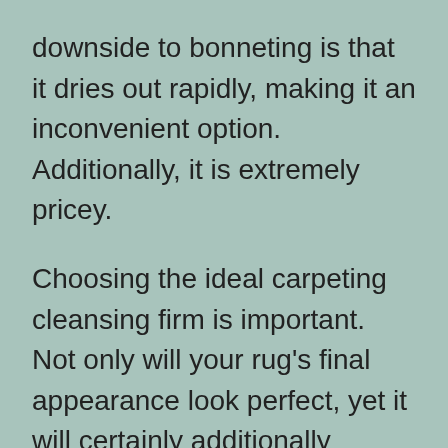downside to bonneting is that it dries out rapidly, making it an inconvenient option. Additionally, it is extremely pricey.
Choosing the ideal carpeting cleansing firm is important. Not only will your rug’s final appearance look perfect, yet it will certainly additionally maintain the rugs tidy. If you work with an unskilled professional, you should be careful to prevent this. The worst method to clean up a rug is to work with a company that uses ineffective approaches. This can cause irreversible damage if the cleaning option is used inaccurately or poorly. An expert